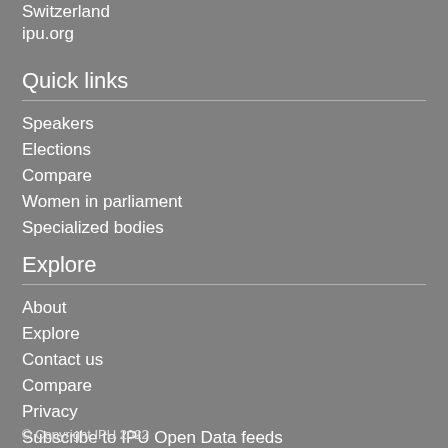Switzerland
ipu.org
Quick links
Speakers
Elections
Compare
Women in parliament
Specialized bodies
Explore
About
Explore
Contact us
Compare
Privacy
Subscribe to IPU Open Data feeds
Terms of use
© Copyright IPU 2022